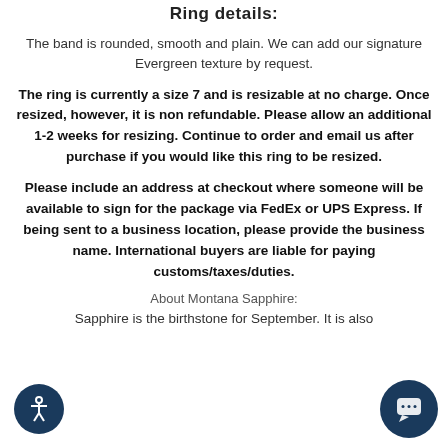Ring details:
The band is rounded, smooth and plain. We can add our signature Evergreen texture by request.
The ring is currently a size 7 and is resizable at no charge. Once resized, however, it is non refundable. Please allow an additional 1-2 weeks for resizing. Continue to order and email us after purchase if you would like this ring to be resized.
Please include an address at checkout where someone will be available to sign for the package via FedEx or UPS Express. If being sent to a business location, please provide the business name. International buyers are liable for paying customs/taxes/duties.
About Montana Sapphire:
Sapphire is the birthstone for September. It is also